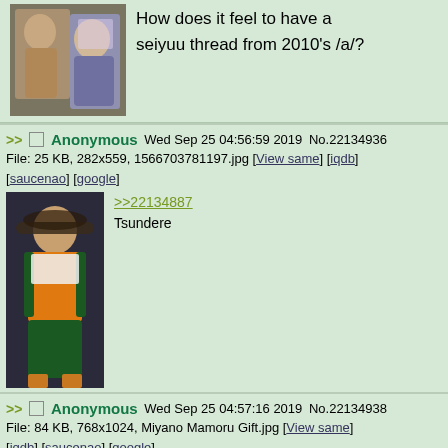[Figure (screenshot): Top partial post showing two people on stage and text: How does it feel to have a seiyuu thread from 2010's /a/?]
How does it feel to have a seiyuu thread from 2010's /a/?
>> Anonymous Wed Sep 25 04:56:59 2019 No.22134936
File: 25 KB, 282x559, 1566703781197.jpg [View same] [iqdb]
[saucenao] [google]
[Figure (photo): Person in Halloween/witch costume with hat, orange and black dress]
>>22134887
Tsundere
>> Anonymous Wed Sep 25 04:57:16 2019 No.22134938
File: 84 KB, 768x1024, Miyano Mamoru Gift.jpg [View same] [iqdb]
[saucenao] [google]
[Figure (photo): Person in athletic/costume outfit with red stockings posing]
>>22134925
What's wrong, anon?